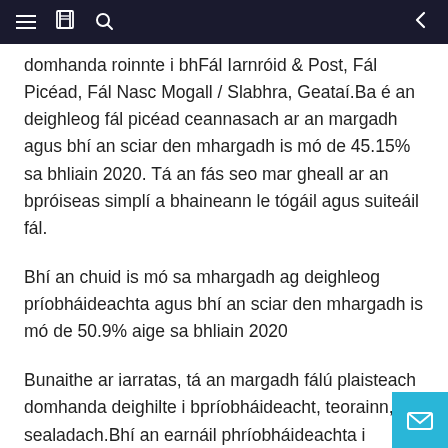Navigation bar with menu, book, search icons and back arrow
domhanda roinnte i bhFál Iarnróid & Post, Fál Picéad, Fál Nasc Mogall / Slabhra, Geataí.Ba é an deighleog fál picéad ceannasach ar an margadh agus bhí an sciar den mhargadh is mó de 45.15% sa bhliain 2020. Tá an fás seo mar gheall ar an bpróiseas simplí a bhaineann le tógáil agus suiteáil fál.
Bhí an chuid is mó sa mhargadh ag deighleog príobháideachta agus bhí an sciar den mhargadh is mó de 50.9% aige sa bhliain 2020
Bunaithe ar iarratas, tá an margadh fálú plaisteach domhanda deighilte i bpríobháideacht, teorainn, sealadach.Bhí an earnáil phríobháideachta i gceannas ar an margadh agus bhí an sciar den mhargadh is mó de 50